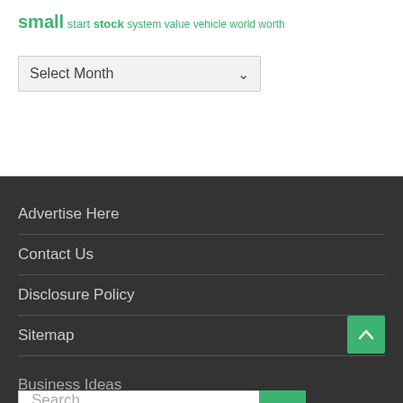small start stock system value vehicle world worth
[Figure (other): Select Month dropdown UI element]
Advertise Here
Contact Us
Disclosure Policy
Sitemap
[Figure (other): Search bar with green search button]
[Figure (other): Back to top arrow button (green)]
Business Ideas